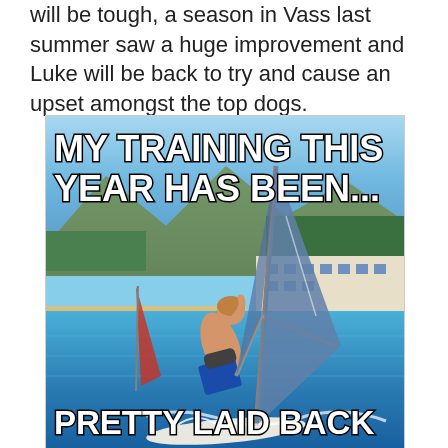will be tough, a season in Vass last summer saw a huge improvement and Luke will be back to try and cause an upset amongst the top dogs.
[Figure (photo): A meme photo of a windsurfer leaning back dramatically on a windsurfing board on blue water, with mountains, trees, buildings and beach in the background. Meme text at top reads 'MY TRAINING THIS YEAR HAS BEEN...' and at bottom reads 'PRETTY LAID BACK']